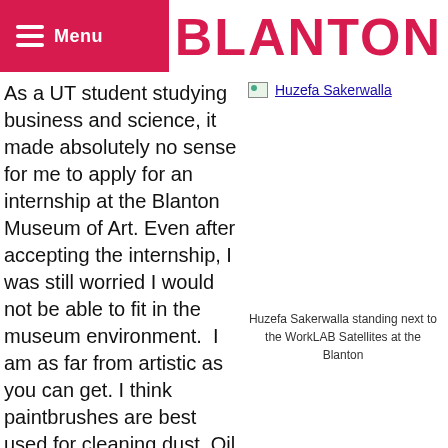Menu | BLANTON
As a UT student studying business and science, it made absolutely no sense for me to apply for an internship at the Blanton Museum of Art. Even after accepting the internship, I was still worried I would not be able to fit in the museum environment.  I am as far from artistic as you can get. I think paintbrushes are best used for cleaning dust. Oil painting is when I pour vegetable oil in a frying pan. The most artistic I get is tying my shoelaces every
[Figure (photo): Huzefa Sakerwalla - linked image placeholder]
Huzefa Sakerwalla standing next to the WorkLAB Satellites at the Blanton